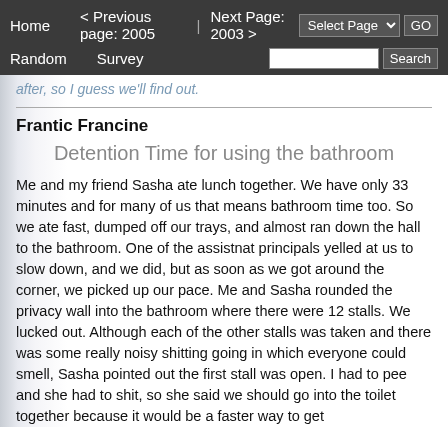Home   < Previous page: 2005  |  Next Page: 2003 >   Random   Survey   Select Page ▾  GO   Search
after, so I guess we'll find out.
Frantic Francine
Detention Time for using the bathroom
Me and my friend Sasha ate lunch together. We have only 33 minutes and for many of us that means bathroom time too. So we ate fast, dumped off our trays, and almost ran down the hall to the bathroom. One of the assistnat principals yelled at us to slow down, and we did, but as soon as we got around the corner, we picked up our pace. Me and Sasha rounded the privacy wall into the bathroom where there were 12 stalls. We lucked out. Although each of the other stalls was taken and there was some really noisy shitting going in which everyone could smell, Sasha pointed out the first stall was open. I had to pee and she had to shit, so she said we should go into the toilet together because it would be a faster way to get